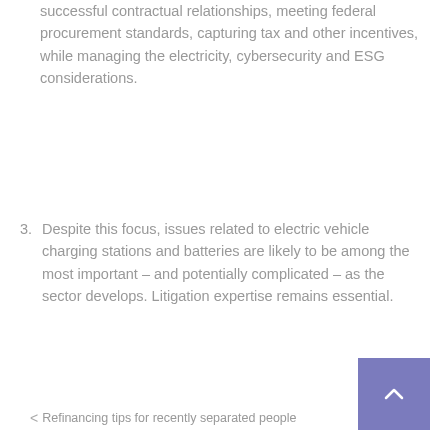successful contractual relationships, meeting federal procurement standards, capturing tax and other incentives, while managing the electricity, cybersecurity and ESG considerations.
3. Despite this focus, issues related to electric vehicle charging stations and batteries are likely to be among the most important – and potentially complicated – as the sector develops. Litigation expertise remains essential.
Real estate resource    long term, united states
< Refinancing tips for recently separated people